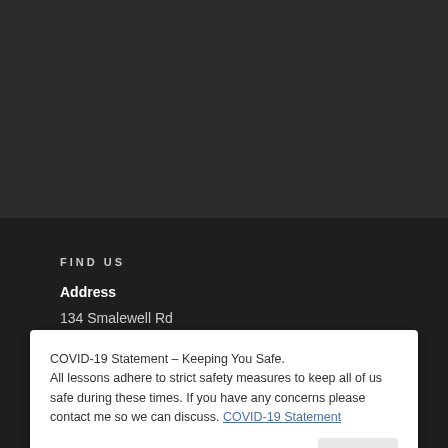[Figure (screenshot): Dark header area of a website, background only]
FIND US
Address
134 Smalewell Rd
Pudsey
Leeds
COVID-19 Statement – Keeping You Safe.
All lessons adhere to strict safety measures to keep all of us safe during these times. If you have any concerns please contact me so we can discuss. COVID-19 Statement
Close